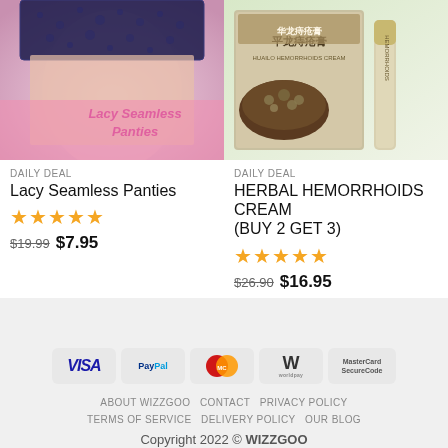[Figure (photo): Product photo of Lacy Seamless Panties - lingerie product image with pink and purple lace, text overlay reading 'Lacy Seamless Panties']
DAILY DEAL
Lacy Seamless Panties
★★★★★
$19.99  $7.95
[Figure (photo): Product photo of Herbal Hemorrhoids Cream - Chinese herbal medicine product with packaging showing Chinese characters 平龙痔疮膏]
DAILY DEAL
HERBAL HEMORRHOIDS CREAM (BUY 2 GET 3)
★★★★★
$26.90  $16.95
[Figure (infographic): Payment method icons: VISA, PayPal, MasterCard, Worldpay, MasterCard SecureCode]
ABOUT WIZZGOO   CONTACT   PRIVACY POLICY   TERMS OF SERVICE   DELIVERY POLICY   OUR BLOG
Copyright 2022 © WIZZGOO